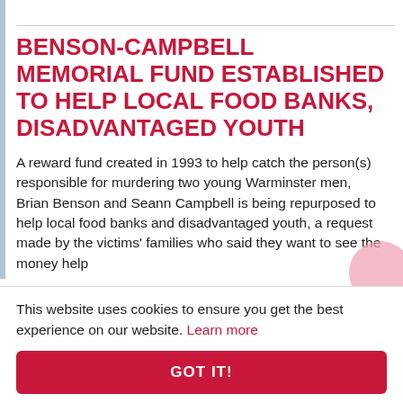BENSON-CAMPBELL MEMORIAL FUND ESTABLISHED TO HELP LOCAL FOOD BANKS, DISADVANTAGED YOUTH
A reward fund created in 1993 to help catch the person(s) responsible for murdering two young Warminster men, Brian Benson and Seann Campbell is being repurposed to help local food banks and disadvantaged youth, a request made by the victims' families who said they want to see the money help
This website uses cookies to ensure you get the best experience on our website. Learn more
GOT IT!